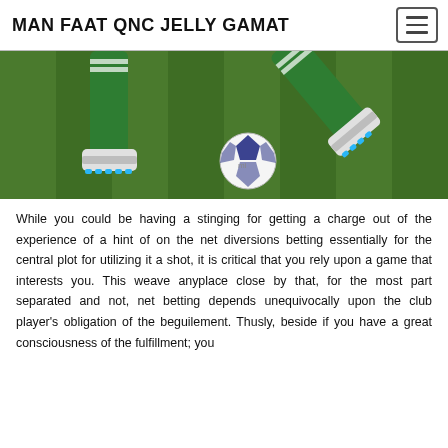MAN FAAT QNC JELLY GAMAT
[Figure (photo): Close-up of a soccer player in green socks and cleats about to kick a white and blue soccer ball on a grass field.]
While you could be having a stinging for getting a charge out of the experience of a hint of on the net diversions betting essentially for the central plot for utilizing it a shot, it is critical that you rely upon a game that interests you. This weave anyplace close by that, for the most part separated and not, net betting depends unequivocally upon the club player's obligation of the beguilement. Thusly, beside if you have a great consciousness of the fulfillment; you